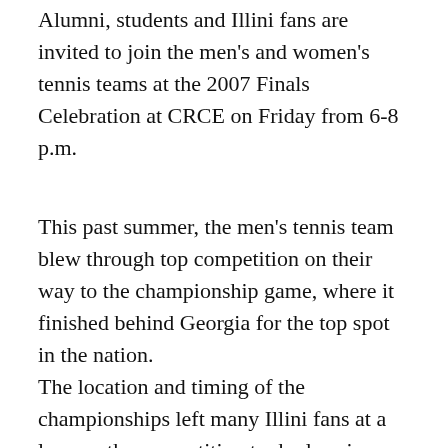Alumni, students and Illini fans are invited to join the men's and women's tennis teams at the 2007 Finals Celebration at CRCE on Friday from 6-8 p.m.
This past summer, the men's tennis team blew through top competition on their way to the championship game, where it finished behind Georgia for the top spot in the nation.
The location and timing of the championships left many Illini fans at a loss, as the competition took place in Athens, Ga., following dismissal for summer break.
In this sense, the event will provide a fitting